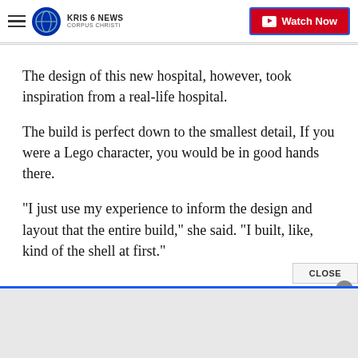KRIS 6 NEWS CORPUS CHRISTI | Watch Now
The design of this new hospital, however, took inspiration from a real-life hospital.
The build is perfect down to the smallest detail, If you were a Lego character, you would be in good hands there.
“I just use my experience to inform the design and layout that the entire build,” she said. “I built, like, kind of the shell at first.”